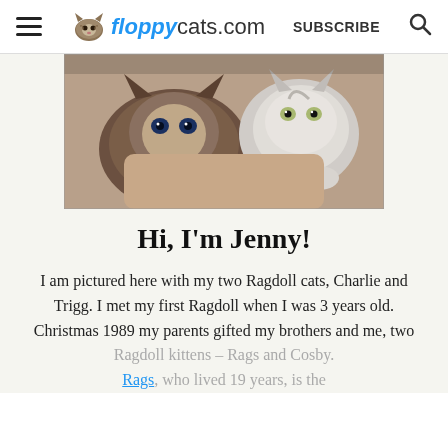floppycats.com   SUBSCRIBE
[Figure (photo): Photo of two Ragdoll cats with a person, cats are close up facing camera]
Hi, I'm Jenny!
I am pictured here with my two Ragdoll cats, Charlie and Trigg. I met my first Ragdoll when I was 3 years old. Christmas 1989 my parents gifted my brothers and me, two Ragdoll kittens – Rags and Cosby. Rags, who lived 19 years, is the